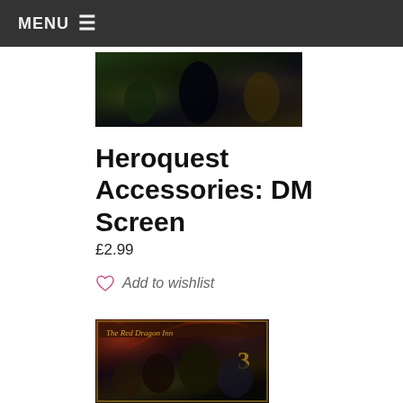MENU ≡
[Figure (photo): Fantasy artwork showing monsters and characters — top banner image for Heroquest Accessories: DM Screen product]
Heroquest Accessories: DM Screen
£2.99
Add to wishlist
[Figure (photo): The Red Dragon Inn 3 board game box art showing fantasy tavern characters including a troll bartender, wolf, fairy, and other adventurers]